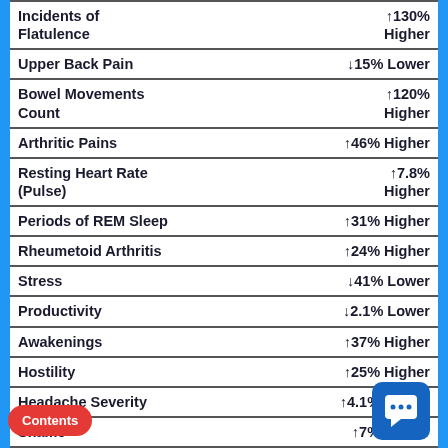| Condition / Metric | Change |
| --- | --- |
| Incidents of Flatulence | ↑130% Higher |
| Upper Back Pain | ↓15% Lower |
| Bowel Movements Count | ↑120% Higher |
| Arthritic Pains | ↑46% Higher |
| Resting Heart Rate (Pulse) | ↑7.8% Higher |
| Periods of REM Sleep | ↑31% Higher |
| Rheumetoid Arthritis | ↑24% Higher |
| Stress | ↓41% Lower |
| Productivity | ↓2.1% Lower |
| Awakenings | ↑37% Higher |
| Hostility | ↑25% Higher |
| Headache Severity | ↑4.1% Higher |
| Shame | ↑7% Higher |
| Blood Pressure (Diastolic - Bottom Number) | ↑1.9% Higher |
| Tiredness / Fatigue | ↓19% Lower |
| Sleep Cycles | ↑130% Higher |
| Deep Sleep Duration | ↑18% Higher |
| Blood Pressure (Systolic - | ↓0% |